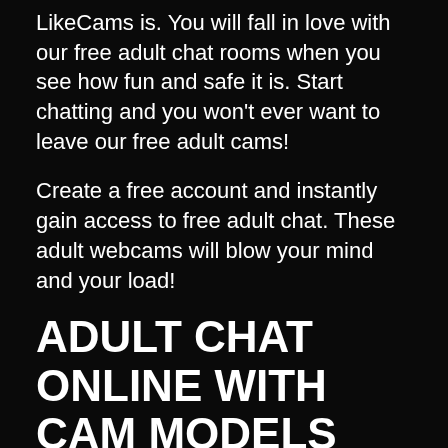LikeCams is. You will fall in love with our free adult chat rooms when you see how fun and safe it is. Start chatting and you won't ever want to leave our free adult cams!
Create a free account and instantly gain access to free adult chat. These adult webcams will blow your mind and your load!
ADULT CHAT ONLINE WITH CAM MODELS AND MEMBERS
Are you bored and lonely watching porn videos with no interaction? Do you want to feel like you're having sex with real people online? If you answered yes, you're